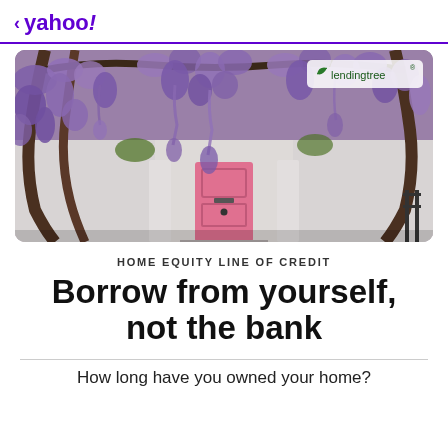< yahoo!
[Figure (photo): Photo of a white house with a pink front door, surrounded by hanging purple wisteria flowers. A LendingTree logo appears in the upper right of the image.]
HOME EQUITY LINE OF CREDIT
Borrow from yourself, not the bank
How long have you owned your home?